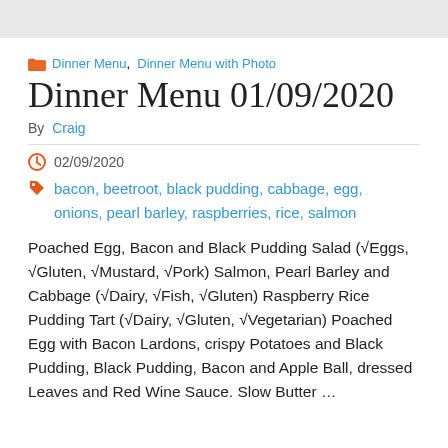Dinner Menu, Dinner Menu with Photo
Dinner Menu 01/09/2020
By Craig
02/09/2020
bacon, beetroot, black pudding, cabbage, egg, onions, pearl barley, raspberries, rice, salmon
Poached Egg, Bacon and Black Pudding Salad (√Eggs, √Gluten, √Mustard, √Pork) Salmon, Pearl Barley and Cabbage (√Dairy, √Fish, √Gluten) Raspberry Rice Pudding Tart (√Dairy, √Gluten, √Vegetarian) Poached Egg with Bacon Lardons, crispy Potatoes and Black Pudding, Black Pudding, Bacon and Apple Ball, dressed Leaves and Red Wine Sauce. Slow Butter …